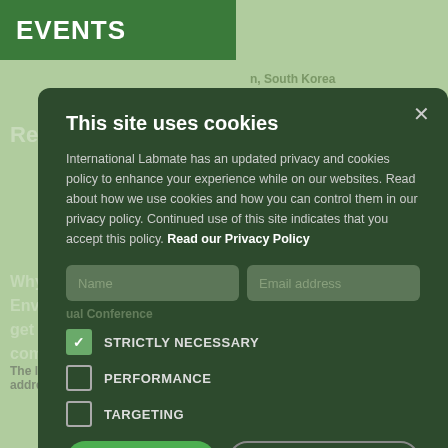EVENTS
Register for the latest products, South Korea
Why not register to the eBulletin, a Monthly email pa... Greece & Virtual Environmental products, news and services. Join ove... get the news first. Its FREE and could really help yo... company.
Milan, Italy
This site uses cookies
International Labmate has an updated privacy and cookies policy to enhance your experience while on our websites. Read about how we use cookies and how you can control them in our privacy policy. Continued use of this site indicates that you accept this policy. Read our Privacy Policy
STRICTLY NECESSARY
PERFORMANCE
TARGETING
The legal bits are on our site, check them out. We can only ac... address.
Nanchang, China
I AGREE
DECLINE ALL
SHOW DETAILS
EW ALL EVENTS